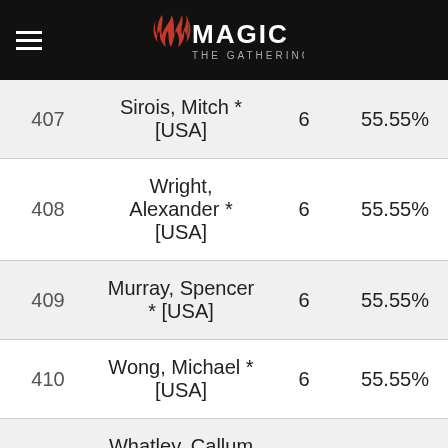Magic: The Gathering
| # | Name | Pts | % |
| --- | --- | --- | --- |
| 407 | Sirois, Mitch * [USA] | 6 | 55.55% |
| 408 | Wright, Alexander * [USA] | 6 | 55.55% |
| 409 | Murray, Spencer * [USA] | 6 | 55.55% |
| 410 | Wong, Michael * [USA] | 6 | 55.55% |
| 411 | Whatley, Callum * [CAN] | 6 | 55.55% |
We use necessary cookies to allow our site to function correctly and collect anonymous session data. Necessary cookies can be opted out through your browser settings. We also use optional cookies to personalize content and ads, provide social medial features and analyze web traffic. By clicking "OK, I agree," you consent to optional cookies. (Learn more about cookies.)
OK, I agree   No, thanks